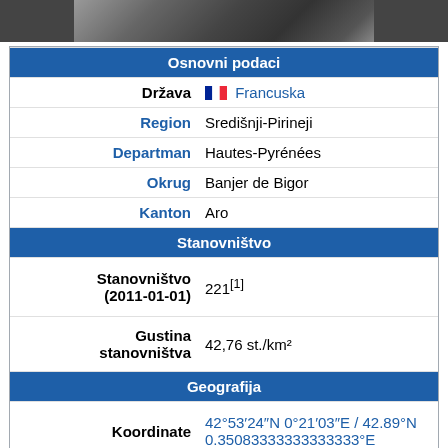[Figure (photo): Partial photo strip at top of page showing a road or path]
| Osnovni podaci |  |
| Država | Francuska |
| Region | Središnji-Pirineji |
| Departman | Hautes-Pyrénées |
| Okrug | Banjer de Bigor |
| Kanton | Aro |
| Stanovništvo |  |
| Stanovništvo (2011-01-01) | 221[1] |
| Gustina stanovništva | 42,76 st./km² |
| Geografija |  |
| Koordinate | 42°53′24″N 0°21′03″E / 42.89°N 0.35083333333333333°E |
| Vremenska zona | UTC+1, ljeti UTC+2 |